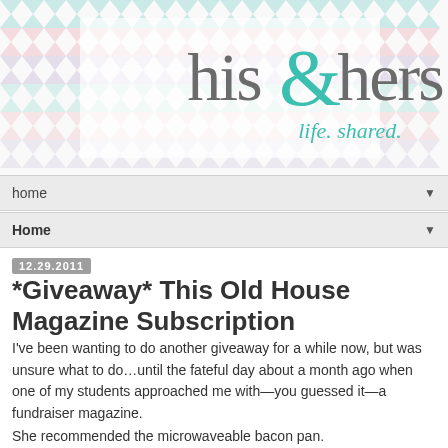[Figure (logo): his&hers life shared blog header logo with colorful chevron/zigzag pattern background in teal, pink, and lavender. Text reads 'his&hers' with a large teal ampersand, and tagline 'life. shared.' in teal script.]
home ▼
Home ▼
12.29.2011
*Giveaway* This Old House Magazine Subscription
I've been wanting to do another giveaway for a while now, but was unsure what to do…until the fateful day about a month ago when one of my students approached me with—you guessed it—a fundraiser magazine.
She recommended the microwaveable bacon pan.